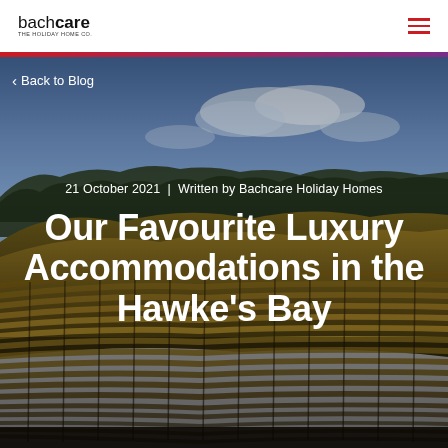bachcare THE HOLIDAY HOME CO.
[Figure (photo): Aerial view of vineyard rows on rolling hills at golden hour, with blue sky and clouds in background. Dark moody tones with warm amber/yellow vines.]
< Back to Blog
21 October 2021  |  Written by Bachcare Holiday Homes
Our Favourite Luxury Accommodations in the Hawke's Bay